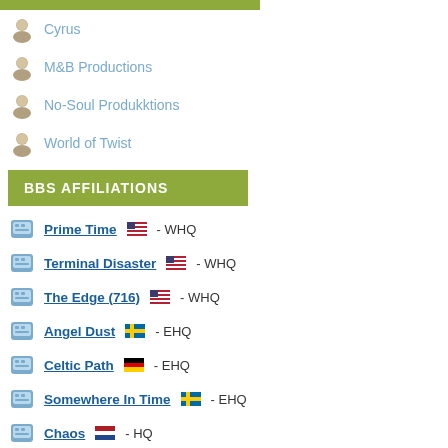Cyrus
M&B Productions
No-Soul Produkktions
World of Twist
BBS AFFILIATIONS
Prime Time 🇺🇸 - WHQ
Terminal Disaster 🇺🇸 - WHQ
The Edge (716) 🇺🇸 - WHQ
Angel Dust 🇸🇪 - EHQ
Celtic Path 🇩🇪 - EHQ
Somewhere In Time 🇸🇪 - EHQ
Chaos 🇳🇱 - HQ
Crime Zone 🇸🇪 - HQ
Cyberdyne 🇸🇪 - HQ
Dark Century 🇩🇪 - HQ
Elegant Machinery 🇩🇰 - HQ
Harmonic Convergence (510) 🇺🇸 - HQ
High Tension 🇩🇰 - HQ